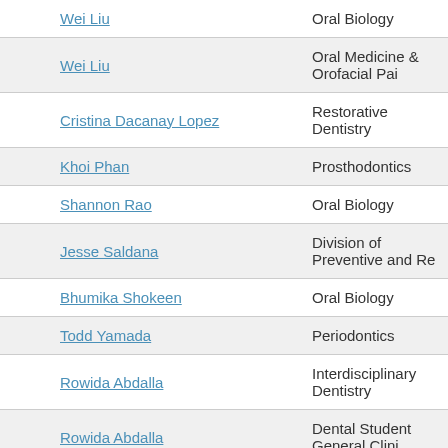| Name | Department |
| --- | --- |
| Wei Liu | Oral Biology |
| Wei Liu | Oral Medicine & Orofacial Pain |
| Cristina Dacanay Lopez | Restorative Dentistry |
| Khoi Phan | Prosthodontics |
| Shannon Rao | Oral Biology |
| Jesse Saldana | Division of Preventive and Restorative Sciences |
| Bhumika Shokeen | Oral Biology |
| Todd Yamada | Periodontics |
| Rowida Abdalla | Interdisciplinary Dentistry |
| Rowida Abdalla | Dental Student General Clinic |
| Tara Aghaloo | Oral & Maxillofacial Surgery &amp; |
| Tara Aghaloo | Oral & Maxillofacial Surgery |
| Fariba Ahmadzadeh | Restorative Dentistry |
| Terry Ahn | Restorative Dentistry |